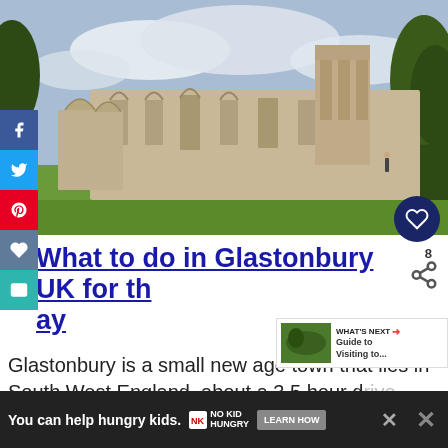[Figure (photo): Photo of Glastonbury Abbey ruins — large stone arched walls and tower remains on a green lawn with trees in the background and a partly cloudy sky.]
What to do in Glastonbury UK for the day
[Figure (infographic): Social media sidebar with Facebook, Twitter, Pinterest, email, and heart buttons. Heart icon circle button in dark navy. Share count showing 8. Share icon.]
[Figure (infographic): WHAT'S NEXT panel with thumbnail image and text: Guide to Visiting to...]
Glastonbury is a small new age town that lies in South West England, about a 3.5 hour drive from London borders
[Figure (infographic): Advertisement banner: You can help hungry kids. No Kid Hungry. LEARN HOW]